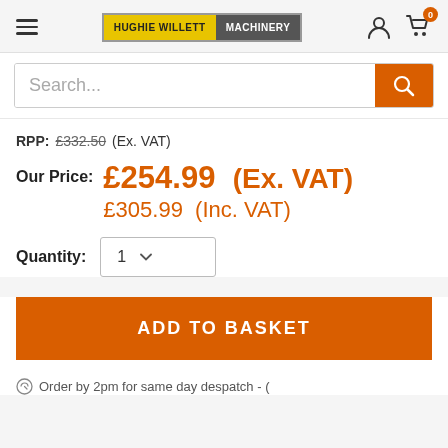[Figure (logo): Hughie Willett Machinery logo with yellow and gray panels]
Search...
RPP: £332.50 (Ex. VAT)
Our Price: £254.99 (Ex. VAT) £305.99 (Inc. VAT)
Quantity: 1
ADD TO BASKET
Order by 2pm for same day despatch - (